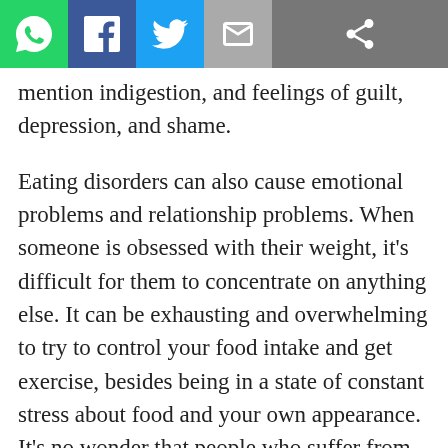[Figure (other): Social media share bar with icons: WhatsApp (green), Facebook (blue), Twitter (light blue), Email (grey), and a generic share icon (dark grey)]
mention indigestion, and feelings of guilt, depression, and shame.
Eating disorders can also cause emotional problems and relationship problems. When someone is obsessed with their weight, it’s difficult for them to concentrate on anything else. It can be exhausting and overwhelming to try to control your food intake and get exercise, besides being in a state of constant stress about food and your own appearance. It’s no wonder that people who suffer from an eating disorder often become lonelier and less sociable.
Eating disorders can also consume a great amount of mental energy. People who suffer from them can become obsessed with planning what to eat; how to avoid eating; obsessive habits to get out of food absorption